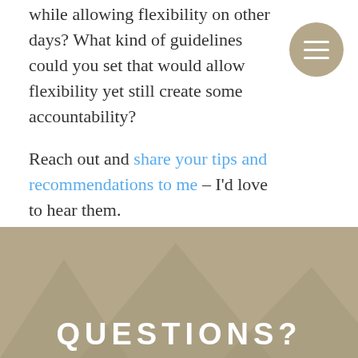while allowing flexibility on other days? What kind of guidelines could you set that would allow flexibility yet still create some accountability?
Reach out and share your tips and recommendations to me – I'd love to hear them.
QUESTIONS?